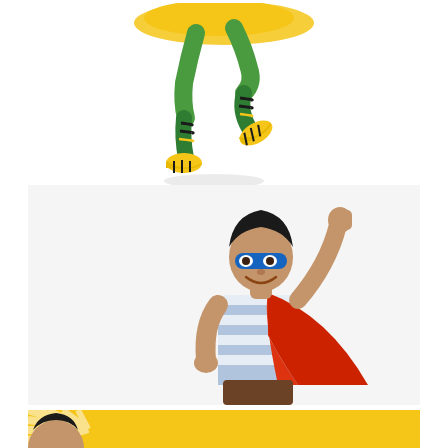[Figure (illustration): Cartoon character legs and feet in green socks and yellow shoes, jumping, with yellow wavy background at top]
[Figure (photo): Young boy dressed as superhero wearing a blue mask, red cape over striped shirt, one fist raised in the air, smiling, on light gray background]
[Figure (illustration): Yellow sunburst banner at the bottom with partial cartoon character head visible on left side]